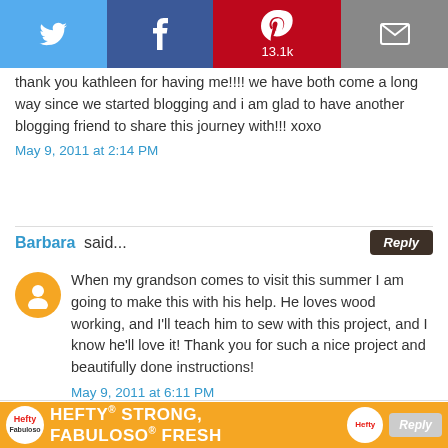[Figure (other): Social sharing bar with Twitter, Facebook, Pinterest (13.1k), and Email buttons]
thank you kathleen for having me!!!! we have both come a long way since we started blogging and i am glad to have another blogging friend to share this journey with!!! xoxo
May 9, 2011 at 2:14 PM
Barbara said...
When my grandson comes to visit this summer I am going to make this with his help. He loves wood working, and I'll teach him to sew with this project, and I know he'll love it! Thank you for such a nice project and beautifully done instructions!
May 9, 2011 at 6:11 PM
[Figure (other): Hefty Strong, Fabuloso Fresh advertisement banner in orange]